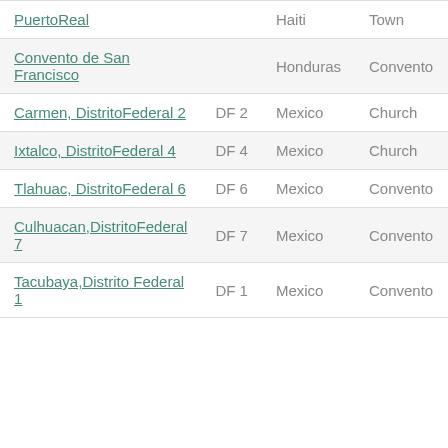| Name | Code | Country | Type | # |
| --- | --- | --- | --- | --- |
| PuertoReal |  | Haiti | Town | 7 |
| Convento de San Francisco |  | Honduras | Convento | 5 |
| Carmen, DistritoFederal 2 | DF 2 | Mexico | Church | 1 |
| Ixtalco, DistritoFederal 4 | DF 4 | Mexico | Church | 4 |
| Tlahuac, DistritoFederal 6 | DF 6 | Mexico | Convento | 5 |
| Culhuacan,DistritoFederal 7 | DF 7 | Mexico | Convento | 3 |
| Tacubaya,Distrito Federal 1 | DF 1 | Mexico | Convento | 3 |